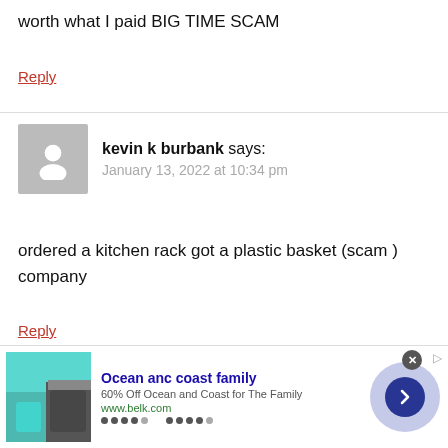worth what I paid BIG TIME SCAM
Reply
kevin k burbank says:
January 13, 2022 at 10:34 pm
ordered a kitchen rack got a plastic basket (scam ) company
Reply
[Figure (other): Advertisement banner: Ocean anc coast family, 60% Off Ocean and Coast for The Family, www.belk.com, with swimwear product image and navigation arrow]